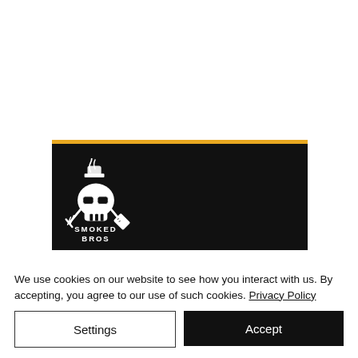[Figure (logo): Smoked Bros logo: black banner with gold top line, skull wearing sunglasses with crossed BBQ utensils (tongs and spatula), smoke rising, text 'SMOKED BROS' in white below skull]
We use cookies on our website to see how you interact with us. By accepting, you agree to our use of such cookies. Privacy Policy
Settings
Accept